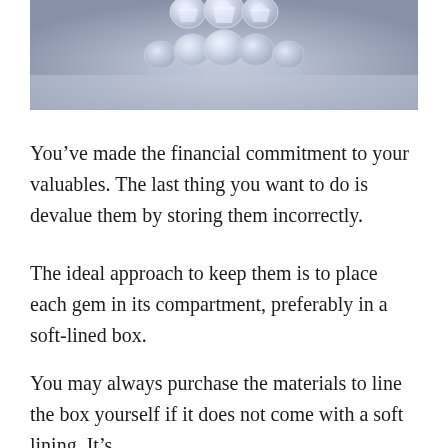[Figure (photo): Close-up photograph of diamond jewelry pieces on a bluish-grey background, partially cropped at top]
You’ve made the financial commitment to your valuables. The last thing you want to do is devalue them by storing them incorrectly.
The ideal approach to keep them is to place each gem in its compartment, preferably in a soft-lined box.
You may always purchase the materials to line the box yourself if it does not come with a soft lining. It’s